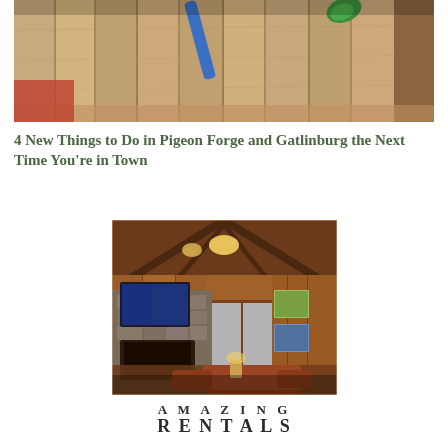[Figure (photo): Close-up photo of wooden wall planks with blue and green decorative axe-throwing targets or climbing wall holds]
4 New Things to Do in Pigeon Forge and Gatlinburg the Next Time You're in Town
[Figure (photo): Interior photo of a rustic cabin living room with stone fireplace, flat screen TV, wooden vaulted ceiling with beams, and leather furniture]
AMAZING RENTALS